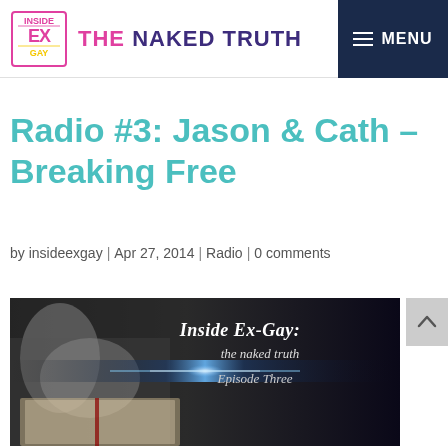Inside Ex-Gay: The Naked Truth | MENU
Radio #3: Jason & Cath – Breaking Free
by insideexgay | Apr 27, 2014 | Radio | 0 comments
[Figure (photo): Inside Ex-Gay: the naked truth – Episode Three. Black and white image of person with hands clasped near face, with an open Bible and dramatic light effect. Text overlay reads: Inside Ex-Gay: the naked truth, Episode Three.]